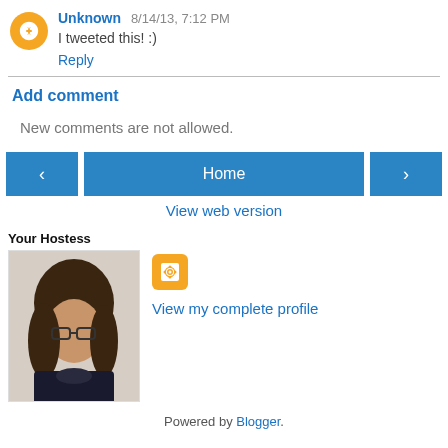Unknown 8/14/13, 7:12 PM
I tweeted this! :)
Reply
Add comment
New comments are not allowed.
‹   Home   ›
View web version
Your Hostess
[Figure (photo): Profile photo of a woman with long brown hair and glasses]
View my complete profile
Powered by Blogger.